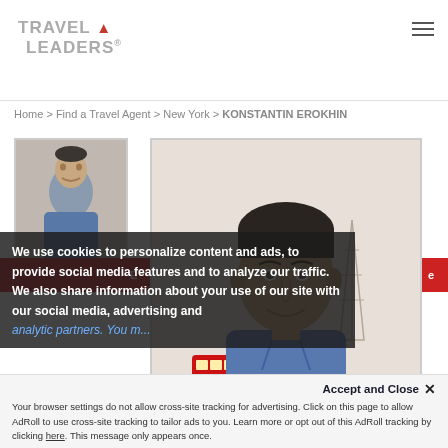TRAVEL LEADERS
Home > Find a Travel Agent > New York > KONSTANTIN EROKHIN
[Figure (photo): Small thumbnail portrait photo of Konstantin Erokhin]
E... (button bar text partial) ...e
[Figure (photo): Large portrait photo of Konstantin Erokhin standing in front of Eiffel Tower backdrop with red double-decker bus]
We use cookies to personalize content and ads, to provide social media features and to analyze our traffic. We also share information about your use of our site with our social media, advertising and analytic partners. You m...
Accept and Close ×
Your browser settings do not allow cross-site tracking for advertising. Click on this page to allow AdRoll to use cross-site tracking to tailor ads to you. Learn more or opt out of this AdRoll tracking by clicking here. This message only appears once.